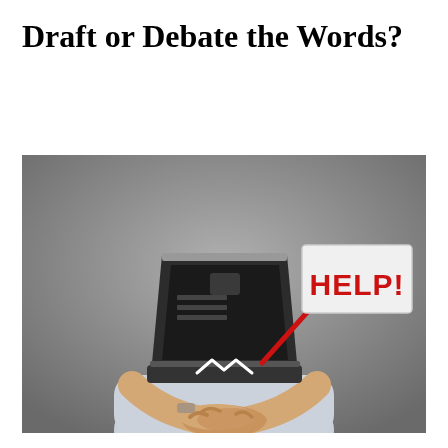Draft or Debate the Words?
[Figure (photo): A person in a white dress shirt slumped over a desk with an open laptop computer covering their head/face, while holding up a white sign that reads 'HELP!' in red letters on a red stick/rod. The background is a neutral grey gradient.]